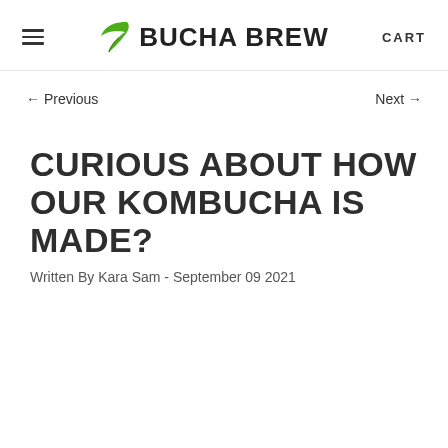BUCHA BREW
← Previous   Next →
CURIOUS ABOUT HOW OUR KOMBUCHA IS MADE?
Written By Kara Sam - September 09 2021